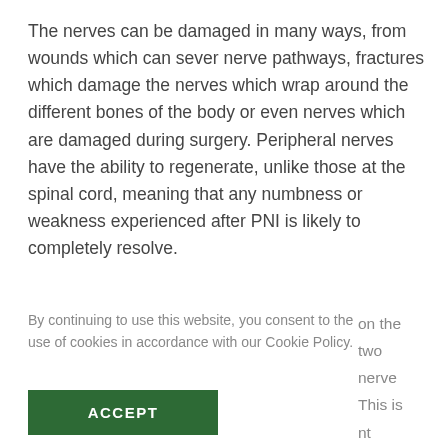The nerves can be damaged in many ways, from wounds which can sever nerve pathways, fractures which damage the nerves which wrap around the different bones of the body or even nerves which are damaged during surgery. Peripheral nerves have the ability to regenerate, unlike those at the spinal cord, meaning that any numbness or weakness experienced after PNI is likely to completely resolve.
By continuing to use this website, you consent to the use of cookies in accordance with our Cookie Policy.
on the two nerve This is nt most
ACCEPT